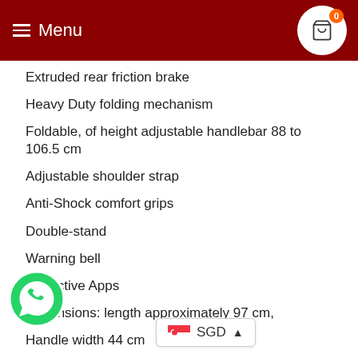Menu
Extruded rear friction brake
Heavy Duty folding mechanism
Foldable, of height adjustable handlebar 88 to 106.5 cm
Adjustable shoulder strap
Anti-Shock comfort grips
Double-stand
Warning bell
Reflective Apps
Dimensions: length approximately 97 cm,
Handle width 44 cm
Extra Large platform 45 x 14 cm
Bearings ABEC 5, Chrome
U...eight 120 kg
[Figure (logo): WhatsApp button icon, circular green logo]
[Figure (other): SGD currency selector with Singapore flag and chevron]